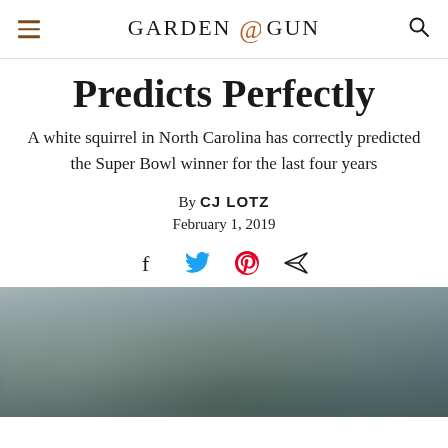GARDEN&GUN
Predicts Perfectly
A white squirrel in North Carolina has correctly predicted the Super Bowl winner for the last four years
By CJ LOTZ
February 1, 2019
[Figure (other): Social share icons: Facebook, Twitter, Pinterest, and a send/share icon]
[Figure (photo): Blurred outdoor photo, appears to show a nature or outdoor scene, possibly featuring a squirrel or outdoor environment]